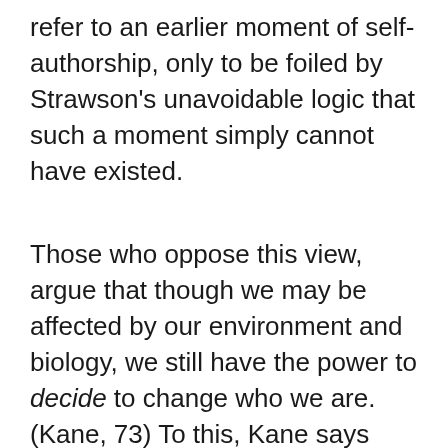refer to an earlier moment of self-authorship, only to be foiled by Strawson's unavoidable logic that such a moment simply cannot have existed.
Those who oppose this view, argue that though we may be affected by our environment and biology, we still have the power to decide to change who we are. (Kane, 73) To this, Kane says that Strawson argues that, "...neither compatibilists nor libertarians give us an adequate account of how we could change our characters that accounts for true responsibility. If the way we change ourselves later in life is determined by how we already are, as compatibilists allow, then that kind of change